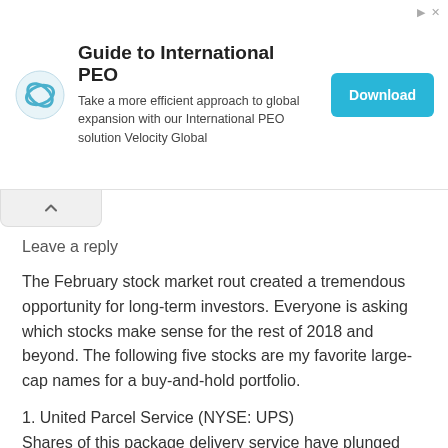[Figure (other): Advertisement banner: Guide to International PEO. Logo icon on left, text 'Take a more efficient approach to global expansion with our International PEO solution Velocity Global', and a blue Download button on the right.]
Leave a reply
The February stock market rout created a tremendous opportunity for long-term investors. Everyone is asking which stocks make sense for the rest of 2018 and beyond. The following five stocks are my favorite large-cap names for a buy-and-hold portfolio.
1. United Parcel Service (NYSE: UPS)
Shares of this package delivery service have plunged around 30% from their January 2018 highs. The February market plunge resulted in a steep gap, exasperating an already dire situation.